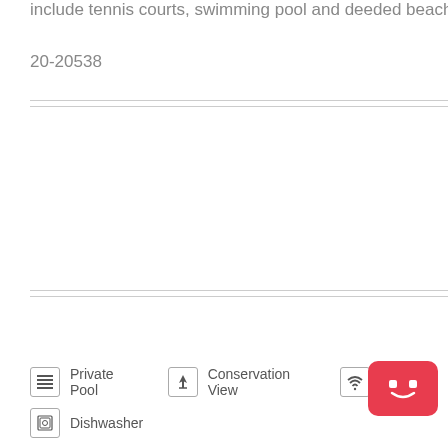include tennis courts, swimming pool and deeded beach ac
20-20538
Private Pool
Conservation View
WiFi
Dishwasher
[Figure (illustration): Red robot/mascot badge in bottom right corner]